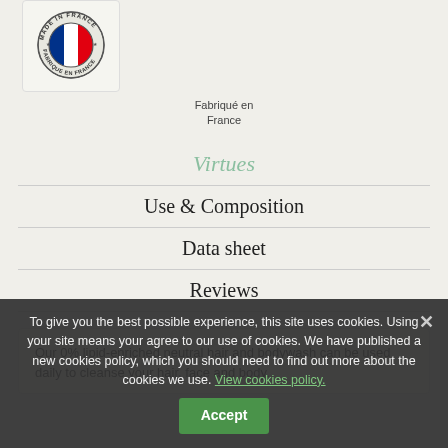[Figure (logo): Made in France circular stamp badge with French flag (blue, white, red tricolor) and text around the border reading 'MADE IN FRANCE / FABRIQUE EN FRANCE']
Fabriqué en France
Virtues
Use & Composition
Data sheet
Reviews
Our 0% lipid-enriched neutral hair and bodywash can be used daily to cleanse your hair, face and body.
To give you the best possible experience, this site uses cookies. Using your site means your agree to our use of cookies. We have published a new cookies policy, which you should need to find out more about the cookies we use. View cookies policy.